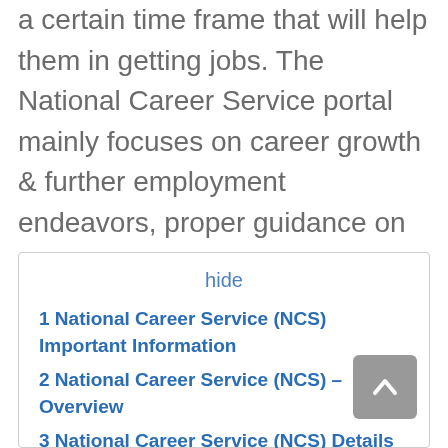a certain time frame that will help them in getting jobs. The National Career Service portal mainly focuses on career growth & further employment endeavors, proper guidance on career building, counseling, enhancement in the female participation in the service sectors, increase in the employment rate, etc.
1 National Career Service (NCS) Important Information
2 National Career Service (NCS) – Overview
3 National Career Service (NCS) Details